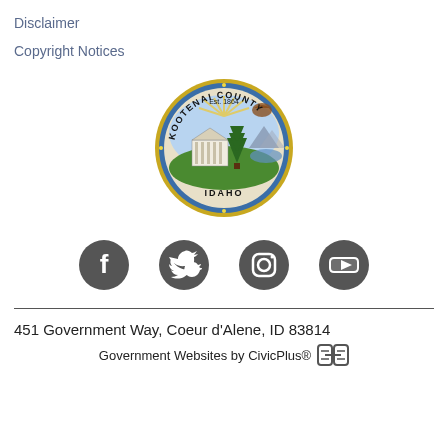Disclaimer
Copyright Notices
[Figure (logo): Kootenai County Idaho official seal — circular seal with text 'KOOTENAI COUNTY' around the top, 'IDAHO' at the bottom, 'Est. 1864' at the top, featuring a courthouse, pine tree, mountains, lake, and eagle imagery, with gold and blue border ring.]
[Figure (infographic): Four social media icon circles (dark gray): Facebook 'f', Twitter bird, Instagram camera, YouTube play button]
451 Government Way, Coeur d'Alene, ID 83814
Government Websites by CivicPlus®